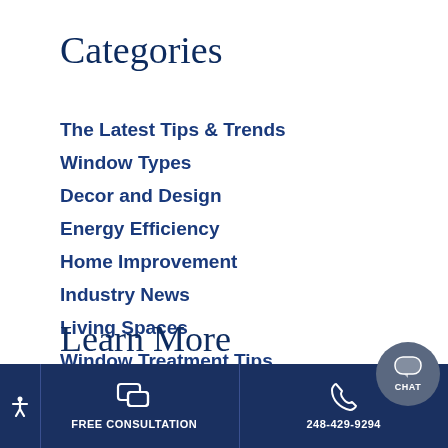Categories
The Latest Tips & Trends
Window Types
Decor and Design
Energy Efficiency
Home Improvement
Industry News
Living Spaces
Window Treatment Tips
Learn More
FREE CONSULTATION   248-429-9294   CHAT